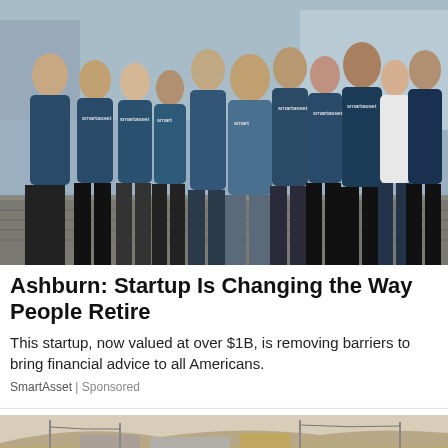[Figure (photo): Group photo of approximately 12 people wearing SmartAsset branded navy/dark teal t-shirts, standing together outdoors on a cobblestone street in an urban setting.]
Ashburn: Startup Is Changing the Way People Retire
This startup, now valued at over $1B, is removing barriers to bring financial advice to all Americans.
SmartAsset | Sponsored
[Figure (photo): Partial photo of an arid/desert landscape with low buildings and utility poles visible, partially cut off at the bottom of the page.]